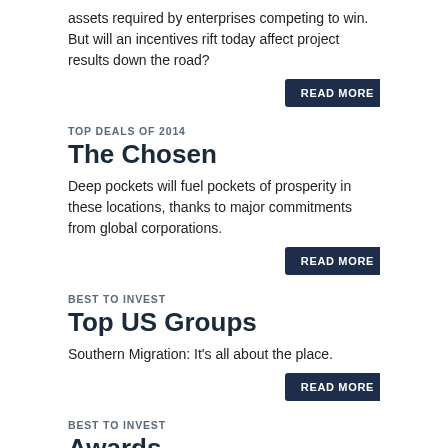assets required by enterprises competing to win. But will an incentives rift today affect project results down the road?
READ MORE
TOP DEALS OF 2014
The Chosen
Deep pockets will fuel pockets of prosperity in these locations, thanks to major commitments from global corporations.
READ MORE
BEST TO INVEST
Top US Groups
Southern Migration: It's all about the place.
READ MORE
BEST TO INVEST
Awards
Top Investment Promotion Agencies of 2015
READ MORE
NORTH AMERICAN AUTOMOTIVE
Drive South ... of the Border
Mexico states its FDI case $1 billion at a time. But the